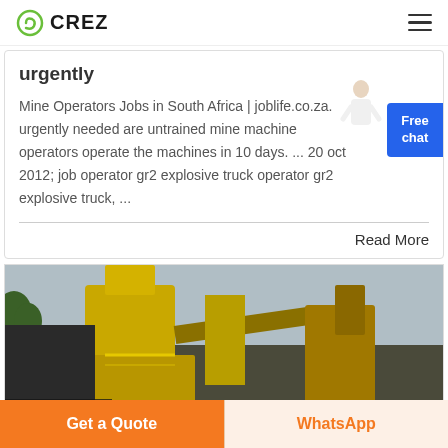CREZ
urgently
Mine Operators Jobs in South Africa | joblife.co.za. urgently needed are untrained mine machine operators operate the machines in 10 days. ... 20 oct 2012; job operator gr2 explosive truck operator gr2 explosive truck, ...
Read More
[Figure (photo): Yellow mining plant machinery and equipment, with text overlay 'NING PLANT']
Get a Quote
WhatsApp